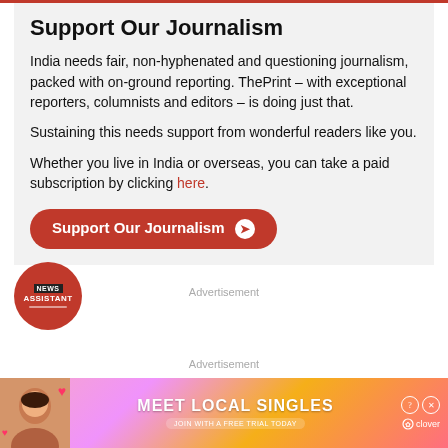Support Our Journalism
India needs fair, non-hyphenated and questioning journalism, packed with on-ground reporting. ThePrint – with exceptional reporters, columnists and editors – is doing just that.
Sustaining this needs support from wonderful readers like you.
Whether you live in India or overseas, you can take a paid subscription by clicking here.
[Figure (other): Orange rounded button reading 'Support Our Journalism' with a circled arrow icon]
[Figure (logo): News Assistant circular badge/logo in red with white text]
Advertisement
Advertisement
[Figure (infographic): Advertisement banner: 'MEET LOCAL SINGLES - JOIN WITH A FREE TRIAL TODAY' by Clover, with a woman photo on the left and colorful gradient background]